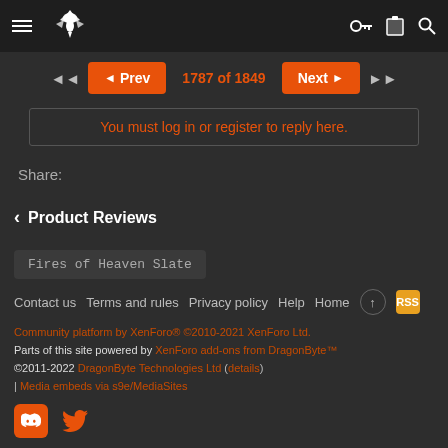Navigation header with hamburger menu, logo, key icon, clipboard icon, search icon
◄◄  ◄ Prev   1787 of 1849   Next ►  ►►
You must log in or register to reply here.
Share:
< Product Reviews
Fires of Heaven Slate
Contact us  Terms and rules  Privacy policy  Help  Home  ↑  RSS
Community platform by XenForo® ©2010-2021 XenForo Ltd. Parts of this site powered by XenForo add-ons from DragonByte™ ©2011-2022 DragonByte Technologies Ltd (details) | Media embeds via s9e/MediaSites